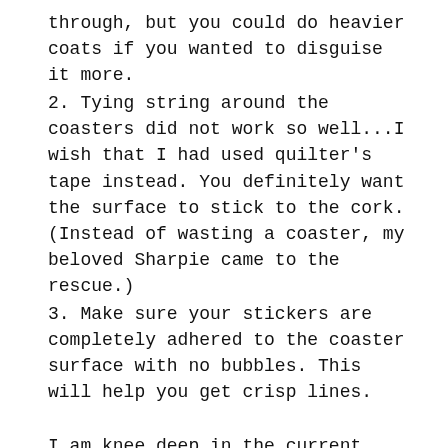through, but you could do heavier coats if you wanted to disguise it more.
2. Tying string around the coasters did not work so well...I wish that I had used quilter's tape instead. You definitely want the surface to stick to the cork. (Instead of wasting a coaster, my beloved Sharpie came to the rescue.)
3. Make sure your stickers are completely adhered to the coaster surface with no bubbles. This will help you get crisp lines.
I am knee deep in the current black and white obsession. Black and white is everywhere lately- in home decor, fashion, branding. I have some friends who are already anxious for the trend to be over. Personally, I’ve always felt comfortable with the simple appeal of black and white. When